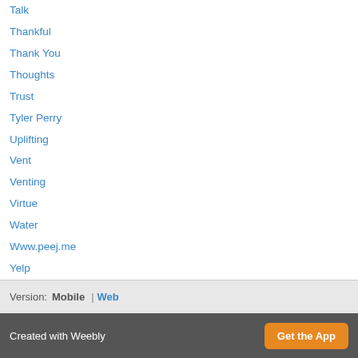Talk
Thankful
Thank You
Thoughts
Trust
Tyler Perry
Uplifting
Vent
Venting
Virtue
Water
Www.peej.me
Yelp
Yelp Reviews
RSS Feed
Version: Mobile | Web
Created with Weebly  Get the App